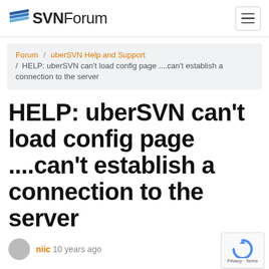SVNForum
Forum / uberSVN Help and Support / HELP: uberSVN can't load config page ....can't establish a connection to the server
HELP: uberSVN can't load config page ....can't establish a connection to the server
niic 10 years ago